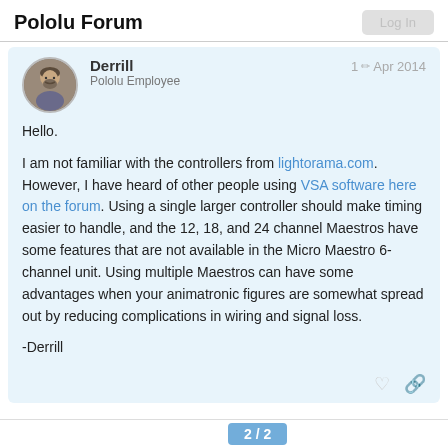Pololu Forum
Hello.

I am not familiar with the controllers from lightorama.com. However, I have heard of other people using VSA software here on the forum. Using a single larger controller should make timing easier to handle, and the 12, 18, and 24 channel Maestros have some features that are not available in the Micro Maestro 6-channel unit. Using multiple Maestros can have some advantages when your animatronic figures are somewhat spread out by reducing complications in wiring and signal loss.

-Derrill